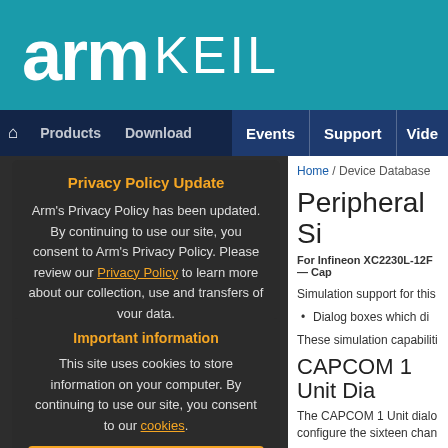[Figure (screenshot): ARM Keil website header with teal background showing 'arm KEIL' logo in white text]
arm KEIL
Products   Download   Events   Support   Video
Home / Device Database
Peripheral Si
For Infineon XC2230L-12F — Cap
Simulation support for this
Dialog boxes which di
These simulation capabiliti
CAPCOM 1 Unit Dia
The CAPCOM 1 Unit dialo configure the sixteen chan
Privacy Policy Update

Arm's Privacy Policy has been updated. By continuing to use our site, you consent to Arm's Privacy Policy. Please review our Privacy Policy to learn more about our collection, use and transfers of your data.

[Accept and hide this message]
Important information

This site uses cookies to store information on your computer. By continuing to use our site, you consent to our cookies.

[Don't show this message again]

Change Settings